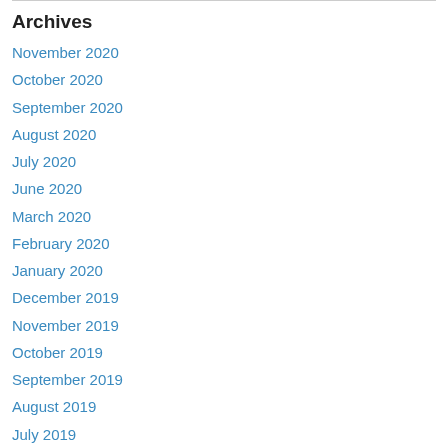Archives
November 2020
October 2020
September 2020
August 2020
July 2020
June 2020
March 2020
February 2020
January 2020
December 2019
November 2019
October 2019
September 2019
August 2019
July 2019
June 2019
May 2019
April 2019